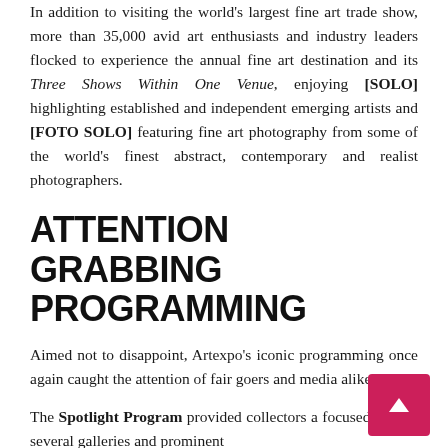In addition to visiting the world's largest fine art trade show, more than 35,000 avid art enthusiasts and industry leaders flocked to experience the annual fine art destination and its Three Shows Within One Venue, enjoying [SOLO] highlighting established and independent emerging artists and [FOTO SOLO] featuring fine art photography from some of the world's finest abstract, contemporary and realist photographers.
ATTENTION GRABBING PROGRAMMING
Aimed not to disappoint, Artexpo's iconic programming once again caught the attention of fair goers and media alike.
The Spotlight Program provided collectors a focused look at several galleries and prominent